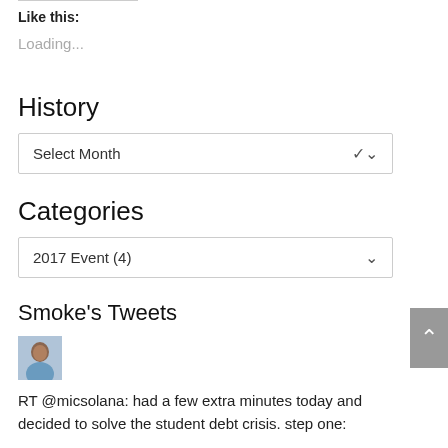Like this:
Loading...
History
Select Month
Categories
2017 Event  (4)
Smoke's Tweets
[Figure (photo): Small avatar photo of a man in a blue shirt]
RT @micsolana: had a few extra minutes today and decided to solve the student debt crisis. step one: